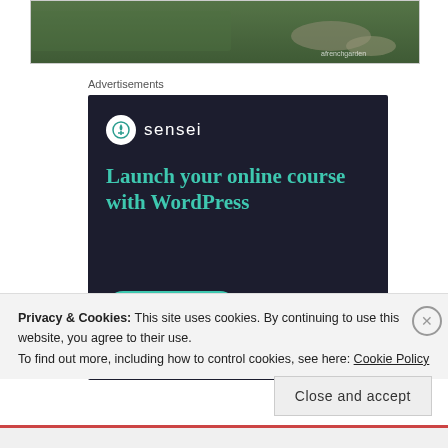[Figure (photo): Partial top edge of a landscape/nature photo showing green vegetation and rocky ground, with a small watermark reading 'afrenchgarden' in the bottom-right corner.]
Advertisements
[Figure (infographic): Sensei advertisement on dark navy background. Shows Sensei logo (circle with tree icon and 'sensei' text), headline 'Launch your online course with WordPress' in teal, a teal 'Learn More' rounded button, and 'Powered by WordPress.com' footer.]
Privacy & Cookies: This site uses cookies. By continuing to use this website, you agree to their use.
To find out more, including how to control cookies, see here: Cookie Policy
Close and accept